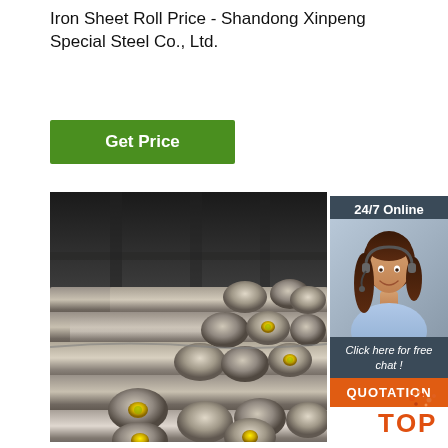Iron Sheet Roll Price - Shandong Xinpeng Special Steel Co., Ltd.
[Figure (other): Green 'Get Price' button]
[Figure (other): Sidebar with '24/7 Online' banner, customer service agent photo, 'Click here for free chat!' text, and orange QUOTATION button]
[Figure (photo): Photo of steel round bars/billets stacked in a warehouse, with yellow end caps on some bars]
[Figure (logo): Orange and red 'TOP' logo with dots at bottom right]